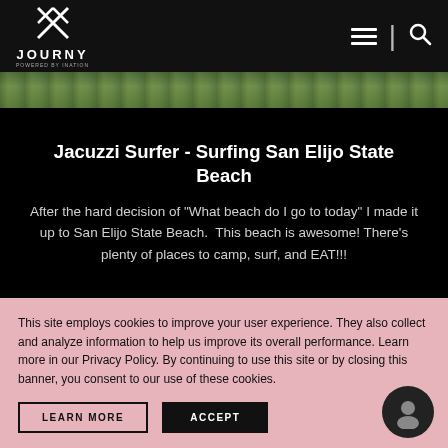JOURNY — navigation bar with hamburger menu and search icon
[Figure (photo): Narrow horizontal strip showing green foliage/trees from above]
Jacuzzi Surfer - Surfing San Elijo State Beach
After the hard decision of "What beach do I go to today" I made it up to San Elijo State Beach.  This beach is awesome!  There's plenty of places to camp, surf, and EAT!!!
This site employs cookies to improve your user experience. They also collect and analyze information to help us improve its overall performance. Learn more in our Privacy Policy. By continuing to use this site or by closing this banner, you consent to our use of these cookies.